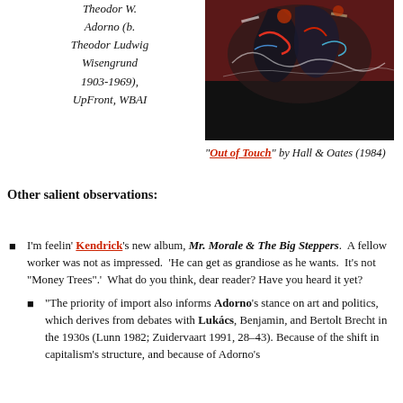Theodor W. Adorno (b. Theodor Ludwig Wisengrund 1903-1969), UpFront, WBAI
[Figure (photo): Abstract expressionist painting with dark background, colorful figures, appears to be a Basquiat-style painting]
“Out of Touch” by Hall & Oates (1984)
Other salient observations:
I’m feelin’ Kendrick’s new album, Mr. Morale & The Big Steppers. A fellow worker was not as impressed. ‘He can get as grandiose as he wants. It’s not “Money Trees”.’ What do you think, dear reader? Have you heard it yet?
“The priority of import also informs Adorno’s stance on art and politics, which derives from debates with Lukács, Benjamin, and Bertolt Brecht in the 1930s (Lunn 1982; Zuidervaart 1991, 28–43). Because of the shift in capitalism’s structure, and because of Adorno’s